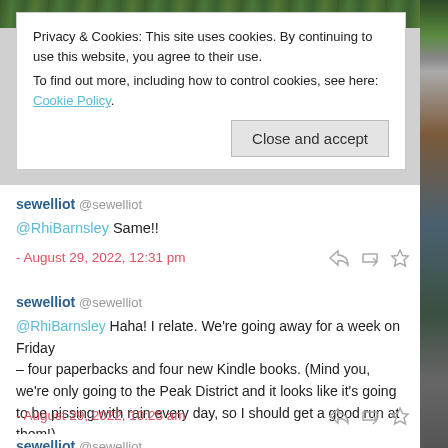[Figure (photo): Top strip showing green foliage/plant background image]
Privacy & Cookies: This site uses cookies. By continuing to use this website, you agree to their use.
To find out more, including how to control cookies, see here: Cookie Policy
Close and accept
sewelliot @sewelliot
@RhiBarnsley Same!!
- August 29, 2022, 12:31 pm
sewelliot @sewelliot
@RhiBarnsley Haha! I relate. We're going away for a week on Friday – four paperbacks and four new Kindle books. (Mind you, we're only going to the Peak District and it looks like it's going to be pissing with rain every day, so I should get a good run at them!)
- August 29, 2022, 10:25 am
sewelliot @sewelliot